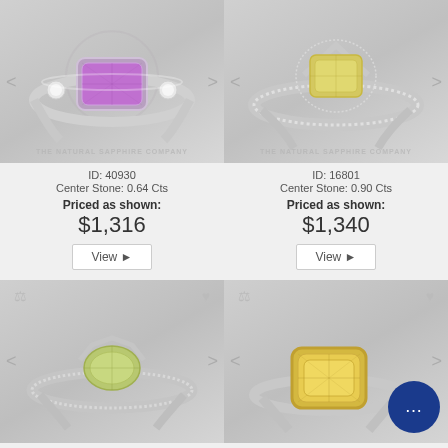[Figure (photo): Ring with purple amethyst emerald-cut center stone in white gold bezel setting with two small diamonds on sides. Watermark: THE NATURAL SAPPHIRE COMPANY]
ID: 40930
Center Stone: 0.64 Cts
Priced as shown:
$1,316
View ▶
[Figure (photo): Ring with yellow sapphire emerald-cut center stone in white gold split shank setting with diamond halo and pavé band. Watermark: THE NATURAL SAPPHIRE COMPANY]
ID: 16801
Center Stone: 0.90 Cts
Priced as shown:
$1,340
View ▶
[Figure (photo): Ring with peridot oval center stone in white gold split shank setting with pavé diamonds along band]
[Figure (photo): Ring with yellow cushion-cut center stone in yellow gold bezel setting on white gold band, with blue chat bubble overlay icon]